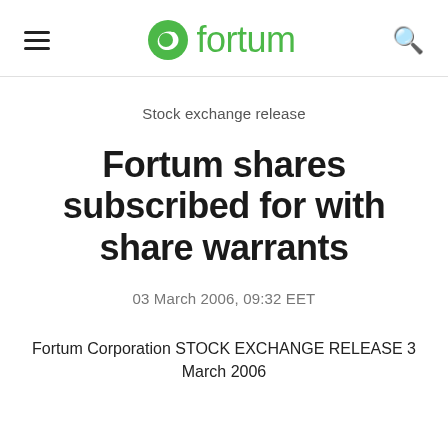fortum
Stock exchange release
Fortum shares subscribed for with share warrants
03 March 2006, 09:32 EET
Fortum Corporation STOCK EXCHANGE RELEASE 3 March 2006